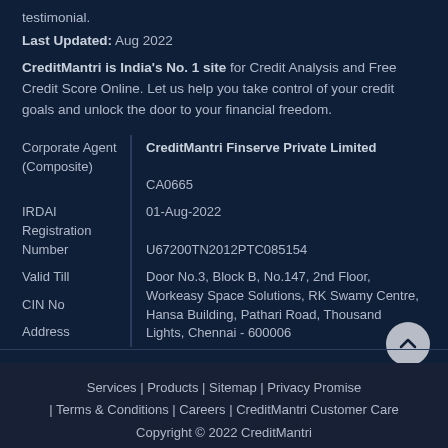testimonial.
Last Updated: Aug 2022
CreditMantri is India's No. 1 site for Credit Analysis and Free Credit Score Online. Let us help you take control of your credit goals and unlock the door to your financial freedom.
|  |  |
| --- | --- |
| Corporate Agent (Composite) | CreditMantri Finserve Private Limited
CA0665 |
| IRDAI Registration Number | 01-Aug-2022 |
| Valid Till | U67200TN2012PTC085154 |
| CIN No | Door No.3, Block B, No.147, 2nd Floor, Workeasy Space Solutions, RK Swamy Centre, Hansa Building, Pathari Road, Thousand Lights, Chennai - 600006 |
| Address |  |
Services | Products | Sitemap | Privacy Promise | Terms & Conditions | Careers | CreditMantri Customer Care
Copyright © 2022 CreditMantri